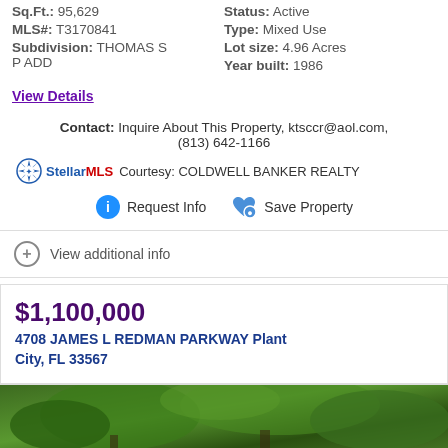Sq.Ft.: 95,629   Status: Active
MLS#: T3170841   Type: Mixed Use
Subdivision: THOMAS SP ADD   Lot size: 4.96 Acres   Year built: 1986
View Details
Contact: Inquire About This Property, ktsccr@aol.com, (813) 642-1166
StellarMLS Courtesy: COLDWELL BANKER REALTY
Request Info   Save Property
View additional info
$1,100,000
4708 JAMES L REDMAN PARKWAY Plant City, FL 33567
[Figure (photo): Outdoor photo showing large trees with green foliage]